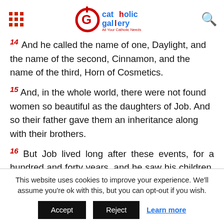Catholic Gallery - All Your Catholic Needs
14 And he called the name of one, Daylight, and the name of the second, Cinnamon, and the name of the third, Horn of Cosmetics.
15 And, in the whole world, there were not found women so beautiful as the daughters of Job. And so their father gave them an inheritance along with their brothers.
16 But Job lived long after these events, for a hundred and forty years, and he saw his children, and his children's children, all the way to the fourth generation,
This website uses cookies to improve your experience. We'll assume you're ok with this, but you can opt-out if you wish.